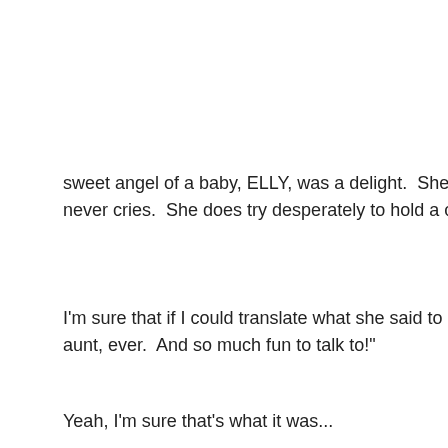w
M
ne
we
sweet angel of a baby, ELLY, was a delight.  She is the best-behav never cries.  She does try desperately to hold a conversation with y
I'm sure that if I could translate what she said to me, it would have aunt, ever.  And so much fun to talk to!"
Yeah, I'm sure that's what it was...
She is also just huge for her age...17 lbs and only 3 months old!  A breast milk!  My gosh, she does nurse about every other hour, tho doing the same thing.)
Luckily for all of us, the furnace was fixed and the leak was patche bug in a rug.
This morning, all us girls (baby included) hung out with my Coffee passed around among all of them...and she never cried or fussed a are pretty big these days, we are often in need of a baby fix and th
Then, off we went to the Dutch Store to buy all sorts of goodies...S Hagelslag, etc.  Hard to describe but let's just say butter and sugar